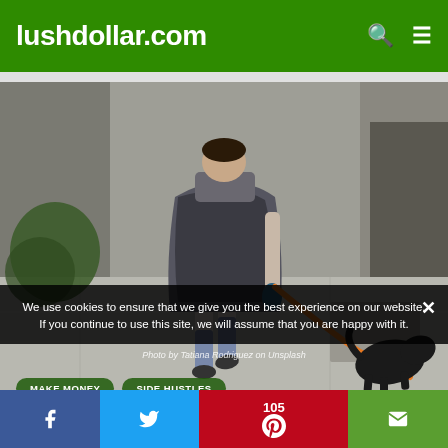lushdollar.com
[Figure (photo): Person walking a black dog on an orange leash on a city sidewalk, view from behind, wearing a gray dress and patterned leggings]
Photo by Tatiana Rodriguez on Unsplash
We use cookies to ensure that we give you the best experience on our website. If you continue to use this site, we will assume that you are happy with it.
MAKE MONEY
SIDE HUSTLES
105 (Pinterest shares) | Facebook share | Twitter share | Email share